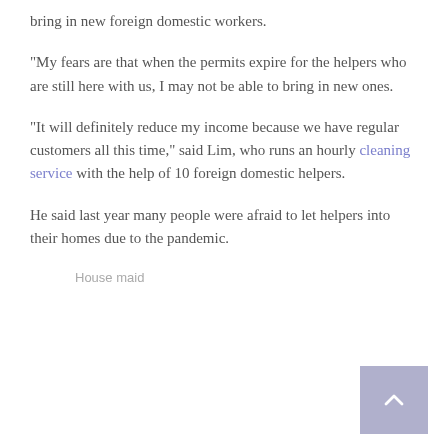bring in new foreign domestic workers.
“My fears are that when the permits expire for the helpers who are still here with us, I may not be able to bring in new ones.
“It will definitely reduce my income because we have regular customers all this time,” said Lim, who runs an hourly cleaning service with the help of 10 foreign domestic helpers.
He said last year many people were afraid to let helpers into their homes due to the pandemic.
House maid